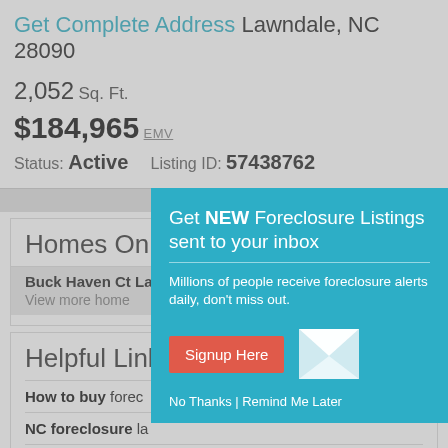Get Complete Address Lawndale, NC 28090
2,052 Sq. Ft.
$184,965 EMV
Status: Active   Listing ID: 57438762
Advertise here?
Homes On T...
Buck Haven Ct La...  View more home...
Helpful Link...
How to buy forec...
NC foreclosure la...
Bankruptcy law ↗
Glossary & terms ↗
[Figure (screenshot): Modal popup overlay: Get NEW Foreclosure Listings sent to your inbox. Millions of people receive foreclosure alerts daily, don't miss out. Signup Here button. No Thanks | Remind Me Later links. Envelope icon graphic.]